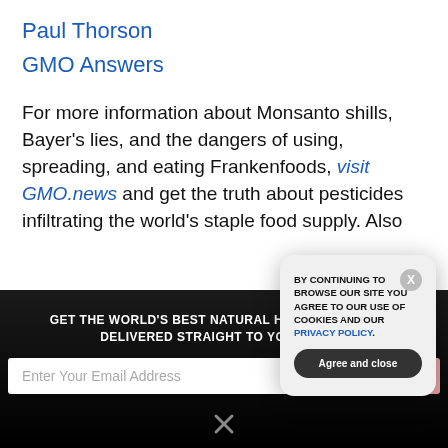Paul Thorson
GMO Answers
For more information about Monsanto shills, Bayer’s lies, and the dangers of using, spreading, and eating Frankenfoods, visit GMO.news and get the truth about pesticides infiltrating the world’s staple food supply. Also
GET THE WORLD’S BEST NATURAL HEALTH NEWSLETTER DELIVERED STRAIGHT TO YOUR INBOX
Enter Your Email Address
SUBSCRIBE
BY CONTINUING TO BROWSE OUR SITE YOU AGREE TO OUR USE OF COOKIES AND OUR PRIVACY POLICY.
Agree and close